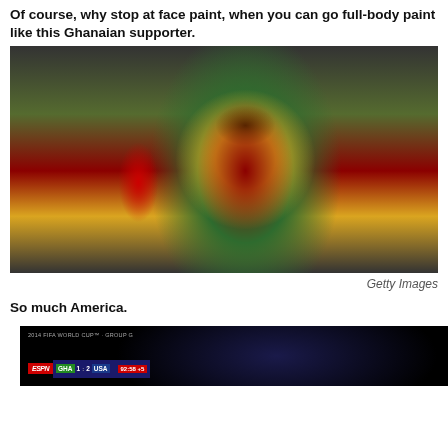Of course, why stop at face paint, when you can go full-body paint like this Ghanaian supporter.
[Figure (photo): A Ghanaian supporter with full-body paint in the colors of Ghana (red, gold, green, black) with a colorful wig, arms raised, cheering at a soccer match.]
Getty Images
So much America.
[Figure (screenshot): ESPN broadcast screenshot showing 2014 FIFA World Cup Group G scoreline: GHA 1-2 USA at 92:58 minutes.]